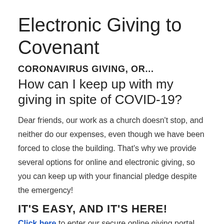Electronic Giving to Covenant
CORONAVIRUS GIVING, OR...
How can I keep up with my giving in spite of COVID-19?
Dear friends, our work as a church doesn't stop, and neither do our expenses, even though we have been forced to close the building. That's why we provide several options for online and electronic giving, so you can keep up with your financial pledge despite the emergency!
IT'S EASY, AND IT'S HERE!
Click here to enter our secure online giving portal